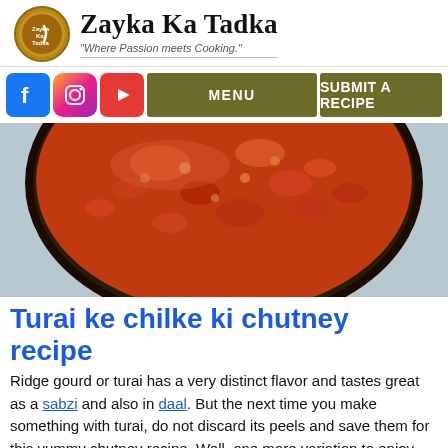Zayka Ka Tadka — "Where Passion meets Cooking."
[Figure (logo): Zayka Ka Tadka logo with circular emblem and site name]
[Figure (photo): Close-up photo of a bowl of turai ke chilke ki chutney (ridge gourd peel chutney), a reddish-orange chunky sauce]
Turai ke chilke ki chutney recipe
Ridge gourd or turai has a very distinct flavor and tastes great as a sabzi and also in daal. But the next time you make something with turai, do not discard its peels and save them for this yummy chutney recipe. Well, one more variation to enjoy turai flavor!
Turai ke chilke ki chutney – healthy din…